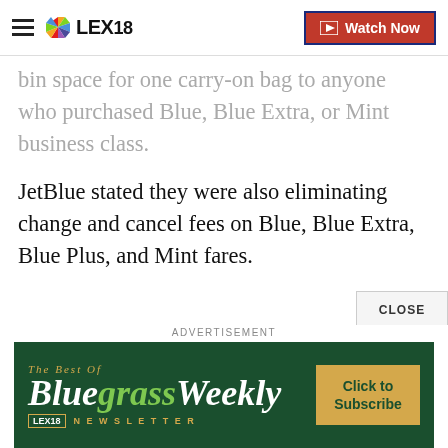LEX18 | Watch Now
bin space for one carry-on bag to anyone who purchased Blue, Blue Extra, or Mint business class.
JetBlue stated they were also eliminating change and cancel fees on Blue, Blue Extra, Blue Plus, and Mint fares.
You can also purchase overhead bin space for one carry-on bag on Basic Blue, the company said.
JetBlue stated that if the amount of bin space, they offer... credit...
[Figure (screenshot): Bluegrass Weekly newsletter advertisement banner from LEX18]